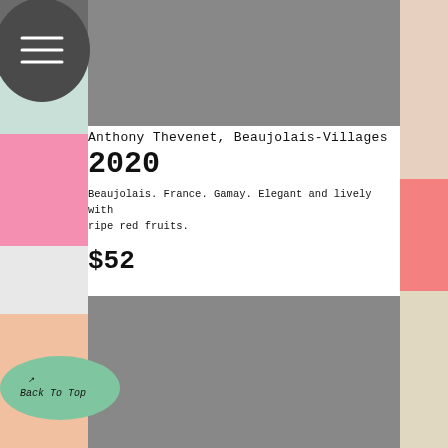[Figure (photo): Grey placeholder image at top of wine listing]
Anthony Thevenet, Beaujolais-Villages 2020
Beaujolais. France. Gamay. Elegant and lively with ripe red fruits.
$52
[Figure (photo): Grey placeholder image below wine details]
[Figure (illustration): Dark circular menu icon top left]
[Figure (illustration): Green oval Back To Top button bottom left]